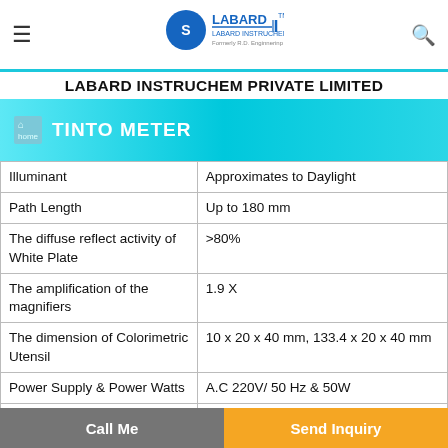LABARD INSTRUCHEM PVT. LTD.
LABARD INSTRUCHEM PRIVATE LIMITED
TINTO METER
| Parameter | Value |
| --- | --- |
| Illuminant | Approximates to Daylight |
| Path Length | Up to 180 mm |
| The diffuse reflect activity of White Plate | >80% |
| The amplification of the magnifiers | 1.9 X |
| The dimension of Colorimetric Utensil | 10 x 20 x 40 mm, 133.4 x 20 x 40 mm |
| Power Supply & Power Watts | A.C 220V/ 50 Hz & 50W |
| Dimension & Weight | 620 x 440 x 300 mm & 12.5 kg |
Call Me | Send Inquiry